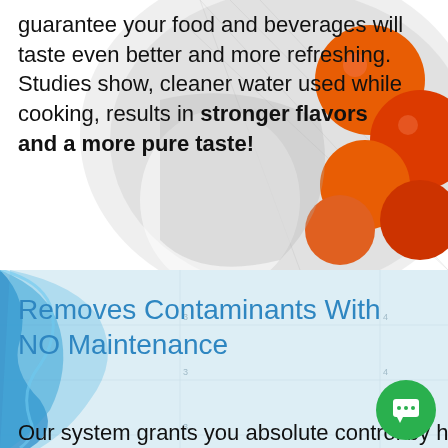[Figure (photo): Photo of tomatoes/produce in a strainer/colander, partially blurred background]
guarantee your food and beverages will taste even better and more refreshing. Studies show, cleaner water used while cooking, results in stronger flavors and a more pure taste!
[Figure (photo): Light blue background with blue water splash/brushstroke graphic and faint measurement grid lines]
Removes Contaminants With NO Maintenance
Our system grants you absolute control by helping you remove the most while retaining the best,